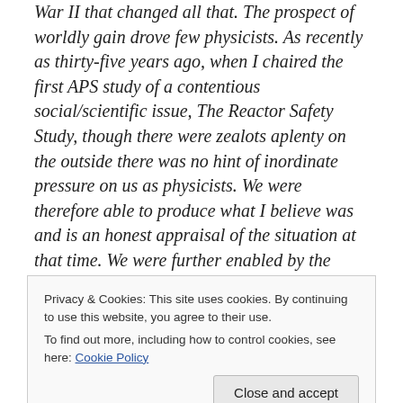War II that changed all that. The prospect of worldly gain drove few physicists. As recently as thirty-five years ago, when I chaired the first APS study of a contentious social/scientific issue, The Reactor Safety Study, though there were zealots aplenty on the outside there was no hint of inordinate pressure on us as physicists. We were therefore able to produce what I believe was and is an honest appraisal of the situation at that time. We were further enabled by the presence of an oversight committee consisting of Pief Panofsky, Vicki Weisskopf, and Hans
Privacy & Cookies: This site uses cookies. By continuing to use this website, you agree to their use.
To find out more, including how to control cookies, see here: Cookie Policy
sides. What greater tribute could there be?